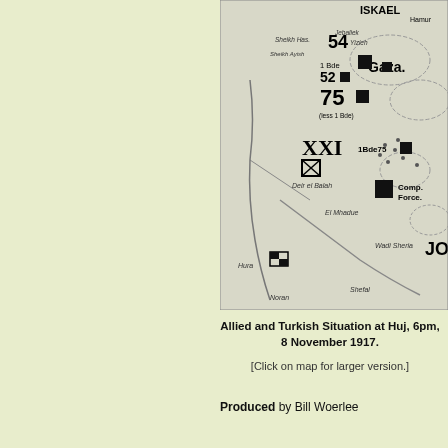[Figure (map): Historical military map showing Allied and Turkish positions at Huj, 8 November 1917. Shows the Gaza area with military unit markers (XXI Corps, 54, 52, 75, 1 Bde, 1Bde75, Comp Force), place names (Gaza, Sheikh Hasan, Sheikh Ayash, Deir el Balah, El Mhadue, Wadi Sheria, Hura, Shefal), and tactical symbols including squares and diagonal-marked squares representing troop positions.]
Allied and Turkish Situation at Huj, 6pm, 8 November 1917.
[Click on map for larger version.]
Produced by Bill Woerlee